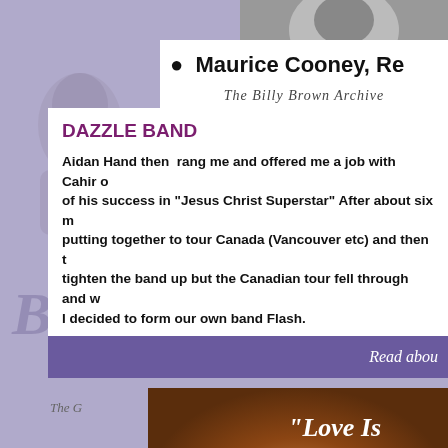[Figure (photo): Top portion of a grayscale photograph, partially cropped]
• Maurice Cooney, Re
[Figure (photo): Faded script text reading 'The Billy Brown Archive']
[Figure (photo): Faded grayscale portrait of a person on the left side]
DAZZLE BAND
Aidan Hand then  rang me and offered me a job with Cahir o of his success in "Jesus Christ Superstar" After about six m putting together to tour Canada (Vancouver etc) and then t tighten the band up but the Canadian tour fell through and w I decided to form our own band Flash.
Read abou
[Figure (photo): Album cover showing band members with cursive text reading 'Love Is' on a warm brown background]
The G